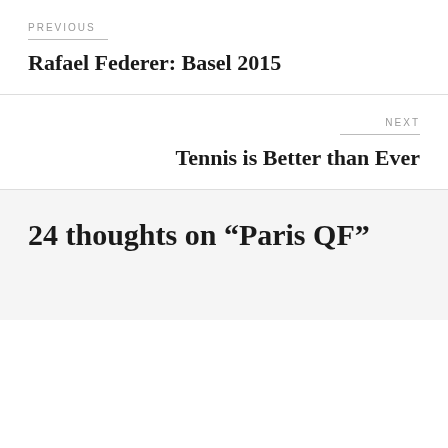PREVIOUS
Rafael Federer: Basel 2015
NEXT
Tennis is Better than Ever
24 thoughts on “Paris QF”
Privacy & Cookies: This site uses cookies. By continuing to use this website, you agree to their use.
To find out more, including how to control cookies, see here: Cookie Policy
Close and accept